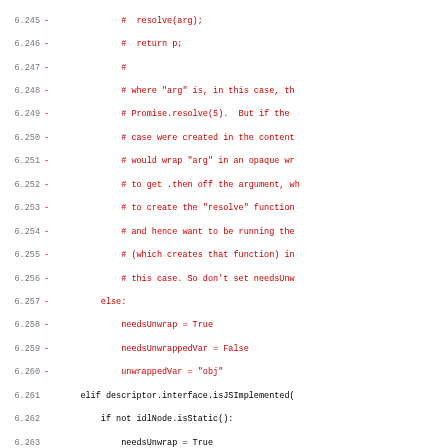[Figure (screenshot): Code diff screenshot showing Python source code lines 6.245 to 6.276, with removed lines (marked with '-') shown in red and unchanged lines in black. The code relates to JavaScript binding logic including needsUnwrap, needsUnwrappedVar, descriptor.interface.isJSImplemented(), needScopeObject(), and Promise handling.]